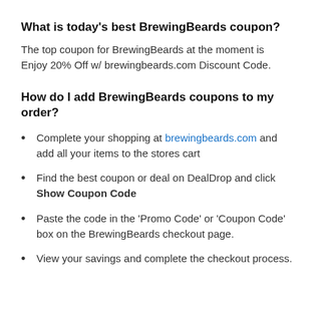What is today's best BrewingBeards coupon?
The top coupon for BrewingBeards at the moment is Enjoy 20% Off w/ brewingbeards.com Discount Code.
How do I add BrewingBeards coupons to my order?
Complete your shopping at brewingbeards.com and add all your items to the stores cart
Find the best coupon or deal on DealDrop and click Show Coupon Code
Paste the code in the 'Promo Code' or 'Coupon Code' box on the BrewingBeards checkout page.
View your savings and complete the checkout process.